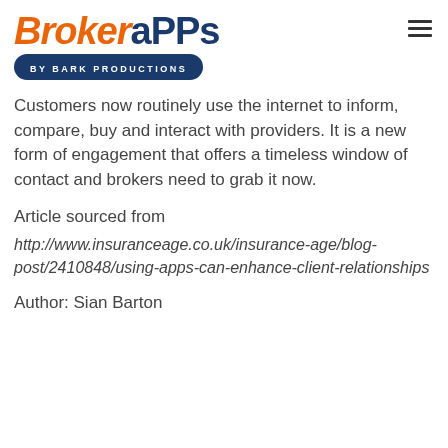[Figure (logo): BrokerApps by Bark Productions logo — 'Broker' in orange italic and 'aPPs' in dark navy, with a dark navy pill-shaped badge reading 'BY BARK PRODUCTIONS' below]
Customers now routinely use the internet to inform, compare, buy and interact with providers. It is a new form of engagement that offers a timeless window of contact and brokers need to grab it now.
Article sourced from
http://www.insuranceage.co.uk/insurance-age/blog-post/2410848/using-apps-can-enhance-client-relationships
Author: Sian Barton